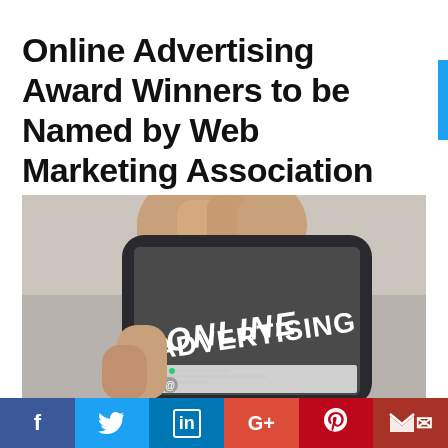Online Advertising Award Winners to be Named by Web Marketing Association
[Figure (photo): A hand holding a smartphone displaying the text 'ONLINE ADVERTISING' on its screen in bold white letters against a dark background, with a website layout partially visible below.]